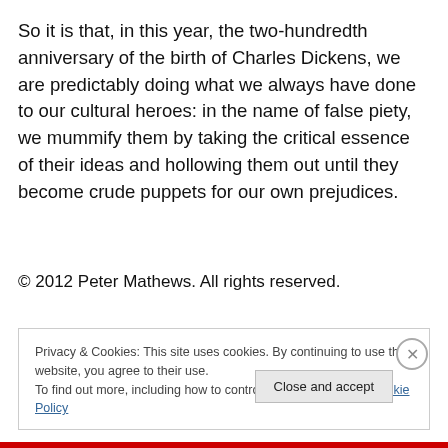So it is that, in this year, the two-hundredth anniversary of the birth of Charles Dickens, we are predictably doing what we always have done to our cultural heroes: in the name of false piety, we mummify them by taking the critical essence of their ideas and hollowing them out until they become crude puppets for our own prejudices.
© 2012 Peter Mathews. All rights reserved.
Privacy & Cookies: This site uses cookies. By continuing to use this website, you agree to their use.
To find out more, including how to control cookies, see here: Cookie Policy
Close and accept